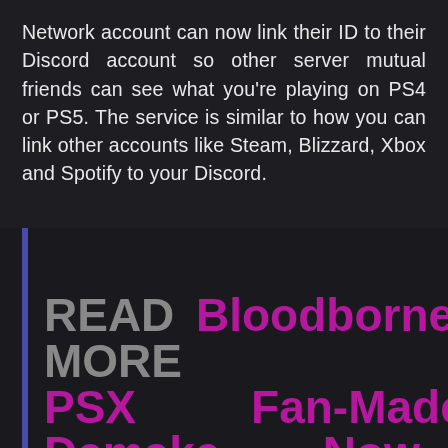Network account can now link their ID to their Discord account so other server mutual friends can see what you're playing on PS4 or PS5. The service is similar to how you can link other accounts like Steam, Blizzard, Xbox and Spotify to your Discord.
READ MORE Bloodborne PSX Fan-Made Demake Now Available for Free on PC